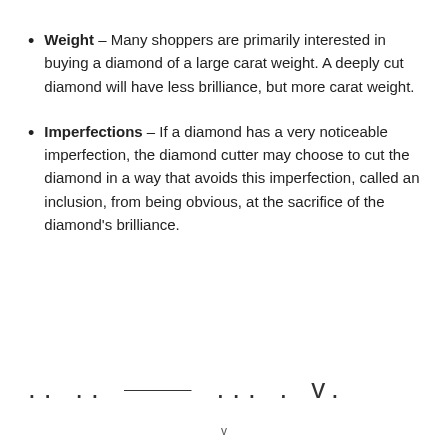Weight – Many shoppers are primarily interested in buying a diamond of a large carat weight. A deeply cut diamond will have less brilliance, but more carat weight.
Imperfections – If a diamond has a very noticeable imperfection, the diamond cutter may choose to cut the diamond in a way that avoids this imperfection, called an inclusion, from being obvious, at the sacrifice of the diamond's brilliance.
v